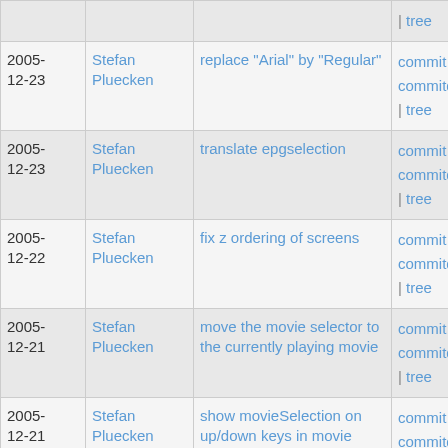| Date | Author | Message | Links |
| --- | --- | --- | --- |
|  |  |  | | tree |
| 2005-12-23 | Stefan Pluecken | replace "Arial" by "Regular" | commit | commitdiff | tree |
| 2005-12-23 | Stefan Pluecken | translate epgselection | commit | commitdiff | tree |
| 2005-12-22 | Stefan Pluecken | fix z ordering of screens | commit | commitdiff | tree |
| 2005-12-21 | Stefan Pluecken | move the movie selector to the currently playing movie | commit | commitdiff | tree |
| 2005-12-21 | Stefan Pluecken | show movieSelection on up/down keys in movie player | commit | commitdiff | tree |
| 2005-12-21 | Stefan Pluecken | unpause by pressing pause when in pause | commit | commitdiff |